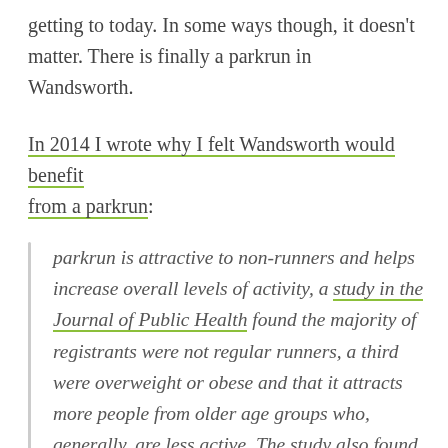getting to today. In some ways though, it doesn't matter. There is finally a parkrun in Wandsworth.
In 2014 I wrote why I felt Wandsworth would benefit from a parkrun:
parkrun is attractive to non-runners and helps increase overall levels of activity, a study in the Journal of Public Health found the majority of registrants were not regular runners, a third were overweight or obese and that it attracts more people from older age groups who, generally, are less active. The study also found participants reported positive outcomes to their physical and